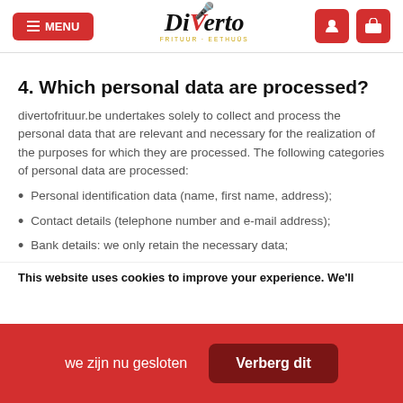MENU | Diverto | [user icon] [cart icon]
4. Which personal data are processed?
divertofrituur.be undertakes solely to collect and process the personal data that are relevant and necessary for the realization of the purposes for which they are processed. The following categories of personal data are processed:
Personal identification data (name, first name, address);
Contact details (telephone number and e-mail address);
Bank details: we only retain the necessary data;
This website uses cookies to improve your experience. We'll
we zijn nu gesloten
Verberg dit